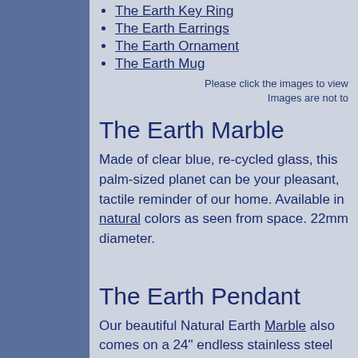The Earth Key Ring
The Earth Earrings
The Earth Ornament
The Earth Mug
Please click the images to view Images are not to
The Earth Marble
Made of clear blue, re-cycled glass, this palm-sized planet can be your pleasant, tactile reminder of our home. Available in natural colors as seen from space. 22mm diameter.
The Earth Pendant
Our beautiful Natural Earth Marble also comes on a 24" endless stainless steel chain to allow it to be worn as a Pendant.